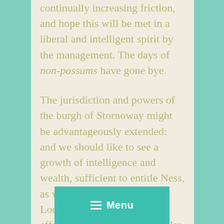continually increasing friction, and hope this will be met in a liberal and intelligent spirit by the management. The days of non-possums have gone bye.
The jurisdiction and powers of the burgh of Stornoway might be advantageously extended: and we should like to see a growth of intelligence and wealth, sufficient to entitle Ness, as well as Carloway, Uig and Lochs, to claim, and claim effectively, Charters of a similar character. It is desirable to foster a growth of this kind by any means a
[Figure (other): Menu button overlay — teal/turquoise rectangular button with hamburger menu icon and 'Menu' label in white bold text]